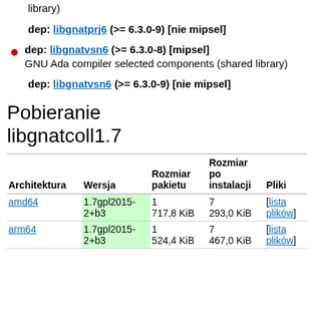library)
dep: libgnatprj6 (>= 6.3.0-9) [nie mipsel]
dep: libgnatvsn6 (>= 6.3.0-8) [mipsel]
GNU Ada compiler selected components (shared library)
dep: libgnatvsn6 (>= 6.3.0-9) [nie mipsel]
Pobieranie libgnatcoll1.7
| Architektura | Wersja | Rozmiar pakietu | Rozmiar po instalacji | Pliki |
| --- | --- | --- | --- | --- |
| amd64 | 1.7gpl2015-2+b3 | 1
717,8 KiB | 7
293,0 KiB | [lista plików] |
| arm64 | 1.7gpl2015-2+b3 | 1
524,4 KiB | 7
467,0 KiB | [lista plików] |